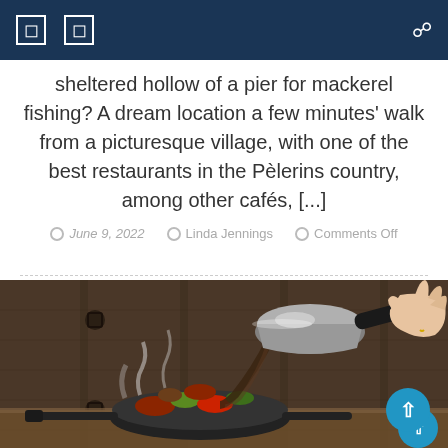Navigation bar with icons
sheltered hollow of a pier for mackerel fishing? A dream location a few minutes' walk from a picturesque village, with one of the best restaurants in the Pèlerins country, among other cafés, [...]
June 9, 2022   Linda Jennings   Comments Off
[Figure (photo): Hand pouring sauce from a saucepan into a sizzling frying pan with vegetables and meat, steam rising, wooden background]